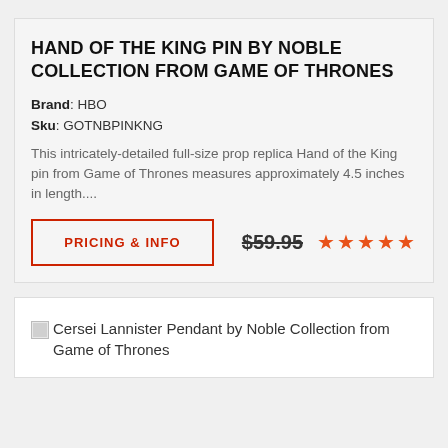HAND OF THE KING PIN BY NOBLE COLLECTION FROM GAME OF THRONES
Brand: HBO
Sku: GOTNBPINKNG
This intricately-detailed full-size prop replica Hand of the King pin from Game of Thrones measures approximately 4.5 inches in length....
PRICING & INFO   $59.95   ★★★★★
[Figure (photo): Cersei Lannister Pendant by Noble Collection from Game of Thrones - broken image placeholder with text label]